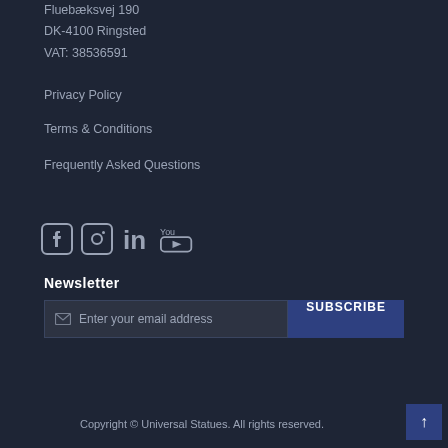Fluebæksvej 190
DK-4100 Ringsted
VAT: 38536591
Privacy Policy
Terms & Conditions
Frequently Asked Questions
[Figure (other): Social media icons: Facebook, Instagram, LinkedIn, YouTube]
Newsletter
Enter your email address  SUBSCRIBE
Copyright © Universal Statues. All rights reserved.